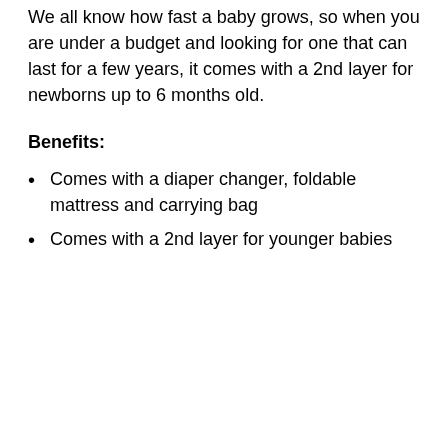We all know how fast a baby grows, so when you are under a budget and looking for one that can last for a few years, it comes with a 2nd layer for newborns up to 6 months old.
Benefits:
Comes with a diaper changer, foldable mattress and carrying bag
Comes with a 2nd layer for younger babies